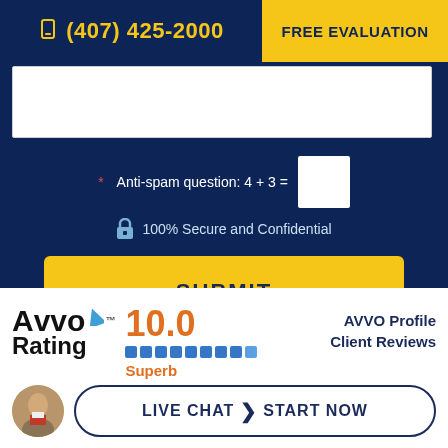(407) 425-2000
FREE EVALUATION
* Anti-spam question: 4 + 3 =
100% Secure and Confidential
SUBMIT
[Figure (logo): Avvo Rating logo with blue arrow, score 10.0, rating bar, and 'Superb' label]
10.0
Superb
AVVO Profile
Client Reviews
LIVE CHAT  START NOW